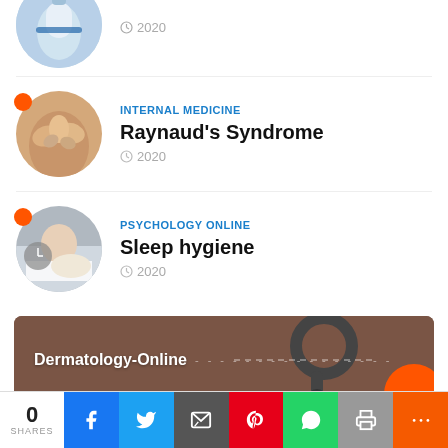[Figure (photo): Circular thumbnail of a medical/nurse scene, partially visible at top]
2020
[Figure (photo): Circular thumbnail of hands (Raynaud's syndrome related) with orange dot indicator]
INTERNAL MEDICINE
Raynaud's Syndrome
2020
[Figure (photo): Circular thumbnail of person sleeping with alarm clock with orange dot indicator]
PSYCHOLOGY ONLINE
Sleep hygiene
2020
[Figure (photo): Banner image with stethoscope on brown/dark background showing Dermatology-Online branding]
0 SHARES | Facebook | Twitter | Email | Pinterest | WhatsApp | Print | More